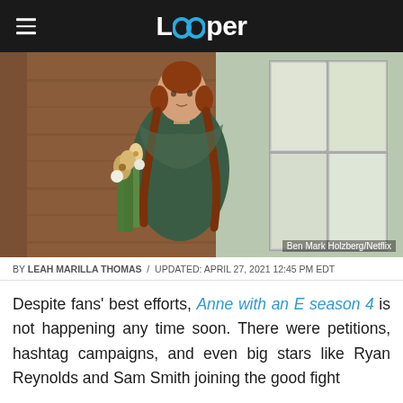Looper
[Figure (photo): Young woman with red braided pigtails wearing a dark green dress, holding wildflowers, standing near a wooden wall and window — a still from Anne with an E on Netflix. Photo credit: Ben Mark Holzberg/Netflix]
Ben Mark Holzberg/Netflix
BY LEAH MARILLA THOMAS / UPDATED: APRIL 27, 2021 12:45 PM EDT
Despite fans' best efforts, Anne with an E season 4 is not happening any time soon. There were petitions, hashtag campaigns, and even big stars like Ryan Reynolds and Sam Smith joining the good fight